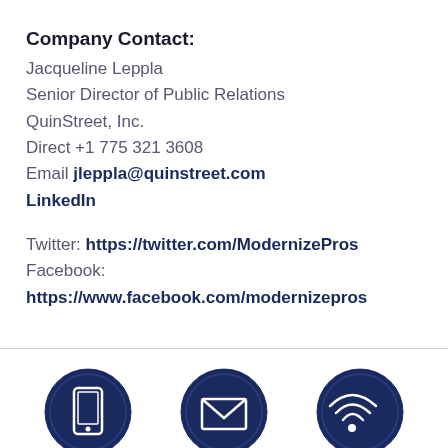Company Contact:
Jacqueline Leppla
Senior Director of Public Relations
QuinStreet, Inc.
Direct +1 775 321 3608
Email jleppla@quinstreet.com
LinkedIn
Twitter: https://twitter.com/ModernizePros
Facebook: https://www.facebook.com/modernizepros
[Figure (illustration): Three dark navy blue circular icons in a row at the bottom: a smartphone/mobile icon, an envelope/email icon, and a WiFi/signal icon]